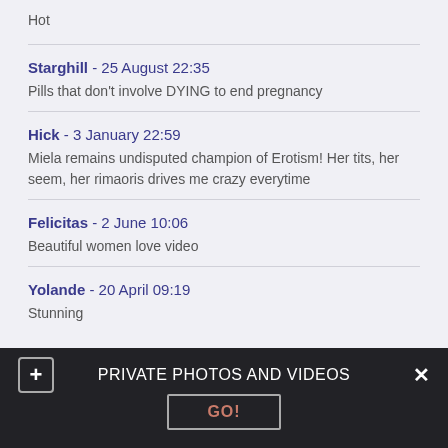Hot
Starghill - 25 August 22:35
Pills that don't involve DYING to end pregnancy
Hick - 3 January 22:59
Miela remains undisputed champion of Erotism! Her tits, her seem, her rimaoris drives me crazy everytime
Felicitas - 2 June 10:06
Beautiful women love video
Yolande - 20 April 09:19
Stunning
PRIVATE PHOTOS AND VIDEOS  GO!